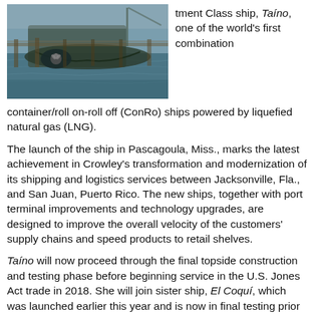[Figure (photo): Aerial or angled view of a ship's bow/propeller area at a dock or waterway, showing water and wooden dock structures]
tment Class ship, Taíno, one of the world's first combination container/roll on-roll off (ConRo) ships powered by liquefied natural gas (LNG).
The launch of the ship in Pascagoula, Miss., marks the latest achievement in Crowley's transformation and modernization of its shipping and logistics services between Jacksonville, Fla., and San Juan, Puerto Rico. The new ships, together with port terminal improvements and technology upgrades, are designed to improve the overall velocity of the customers' supply chains and speed products to retail shelves.
Taíno will now proceed through the final topside construction and testing phase before beginning service in the U.S. Jones Act trade in 2018. She will join sister ship, El Coquí, which was launched earlier this year and is now in final testing prior to entering service in early 2018.